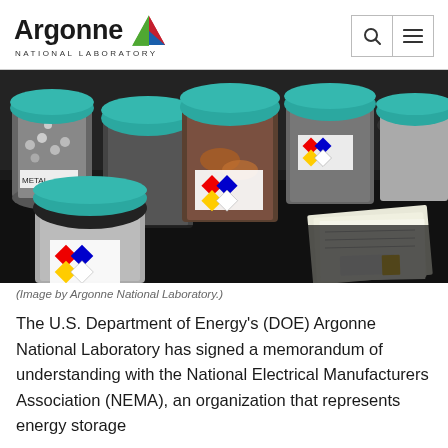Argonne National Laboratory
[Figure (photo): Laboratory jars with hazardous material diamond labels (NFPA), teal lids, containing various materials including copper-like substances, arranged on a dark table with documents nearby. Image by Argonne National Laboratory.]
(Image by Argonne National Laboratory.)
The U.S. Department of Energy's (DOE) Argonne National Laboratory has signed a memorandum of understanding with the National Electrical Manufacturers Association (NEMA), an organization that represents energy storage